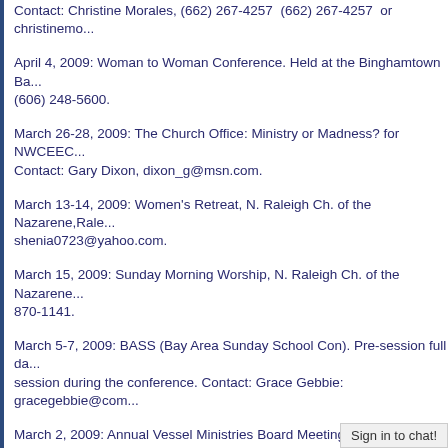Contact: Christine Morales, (662) 267-4257  (662) 267-4257  or christinemo...
April 4, 2009: Woman to Woman Conference. Held at the Binghamtown Ba... (606) 248-5600.
March 26-28, 2009: The Church Office: Ministry or Madness? for NWCEEC... Contact: Gary Dixon, dixon_g@msn.com.
March 13-14, 2009: Women's Retreat, N. Raleigh Ch. of the Nazarene,Rale... shenia0723@yahoo.com.
March 15, 2009: Sunday Morning Worship, N. Raleigh Ch. of the Nazarene... 870-1141.
March 5-7, 2009: BASS (Bay Area Sunday School Con). Pre-session full da... session during the conference. Contact: Grace Gebbie: gracegebbie@com...
March 2, 2009: Annual Vessel Ministries Board Meeting. Held at America's...
March 1, 2009: Sunday AM Service at Jackson, MS, Emmauel Ch. of the N... 5045  601-373-5045  or pbdronso@yahoo.com.
Feb. 27-28, 2009: Mississippi Nazarene Women's Retreat. Held at Rooseve... (662) 255-0107 or revjhatcher@bellsouth.net.
Feb. 17, 2009: Church Office Seminar, sponsored by Sutherlin Family Chur... Suzy Halstead (541) 449-9803 (541) 449-9...